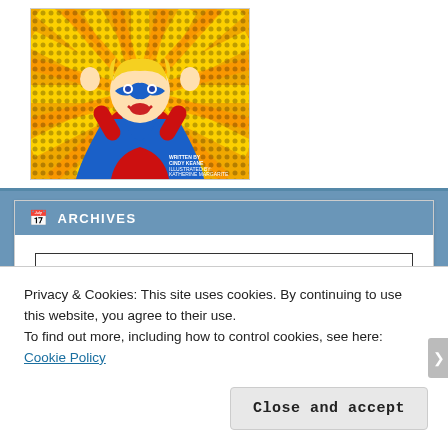[Figure (illustration): Comic-style book cover showing a blonde superhero child in a red costume with blue cape and mask, arms raised, against a yellow radiant background with text 'Written by Cindy Keane, Illustrated by Katherine Margarite']
ARCHIVES
Select Month
[Figure (screenshot): WordPress Follow Geek Mamas button in blue with 1,498 followers count]
Privacy & Cookies: This site uses cookies. By continuing to use this website, you agree to their use.
To find out more, including how to control cookies, see here: Cookie Policy
Close and accept